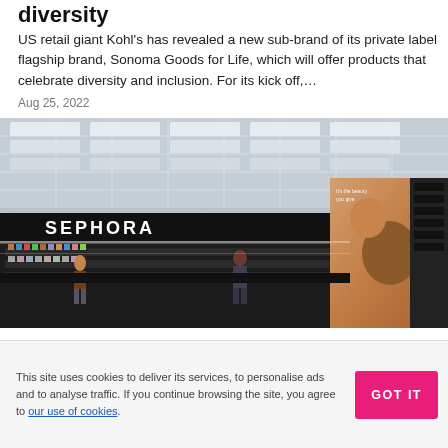diversity
US retail giant Kohl's has revealed a new sub-brand of its private label flagship brand, Sonoma Goods for Life, which will offer products that celebrate diversity and inclusion. For its kick off,…
Aug 25, 2022
[Figure (photo): Interior rendering of a Sephora shop-in-shop inside a Kohl's store, showing makeup shelving, the Sephora logo sign, and a lifestyle image panel on the right side.]
This site uses cookies to deliver its services, to personalise ads and to analyse traffic. If you continue browsing the site, you agree to our use of cookies.